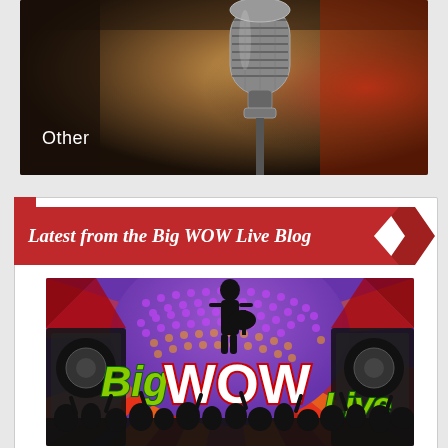[Figure (photo): Close-up photo of a vintage silver microphone with bokeh background in warm tones]
Other
Latest from the Big WOW Live Blog
[Figure (logo): Big WOW Live colorful concert event promotional graphic with silhouette of guitarist, crowd, speakers, and colorful rays background. Text reads 'Big WOW Live' in green and red lettering.]